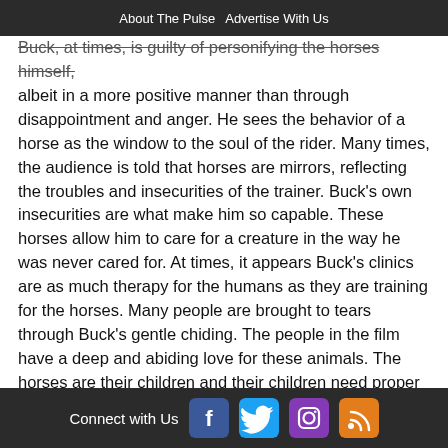About The Pulse  Advertise With Us
Buck, at times, is guilty of personifying the horses himself, albeit in a more positive manner than through disappointment and anger. He sees the behavior of a horse as the window to the soul of the rider. Many times, the audience is told that horses are mirrors, reflecting the troubles and insecurities of the trainer. Buck's own insecurities are what make him so capable. These horses allow him to care for a creature in the way he was never cared for. At times, it appears Buck's clinics are as much therapy for the humans as they are training for the horses. Many people are brought to tears through Buck's gentle chiding. The people in the film have a deep and abiding love for these animals. The horses are their children and their children need proper guidance. Yet I found them slightly off putting, much like dog breeders and pageant moms. Maybe it just seems a bit disingenuous to profess powerful, enduring love for a living creature that you use for
Connect with Us